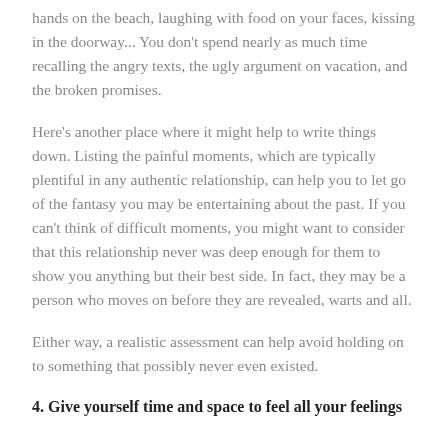hands on the beach, laughing with food on your faces, kissing in the doorway... You don't spend nearly as much time recalling the angry texts, the ugly argument on vacation, and the broken promises.
Here's another place where it might help to write things down. Listing the painful moments, which are typically plentiful in any authentic relationship, can help you to let go of the fantasy you may be entertaining about the past. If you can't think of difficult moments, you might want to consider that this relationship never was deep enough for them to show you anything but their best side. In fact, they may be a person who moves on before they are revealed, warts and all.
Either way, a realistic assessment can help avoid holding on to something that possibly never even existed.
4. Give yourself time and space to feel all your feelings